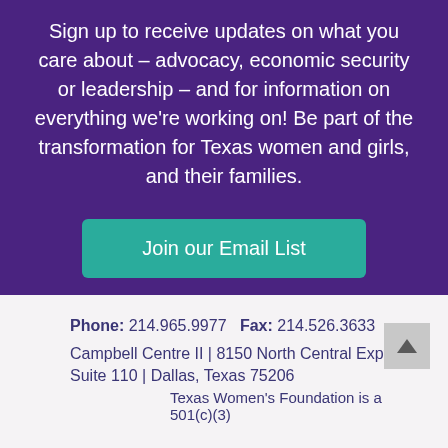Sign up to receive updates on what you care about – advocacy, economic security or leadership – and for information on everything we're working on! Be part of the transformation for Texas women and girls, and their families.
[Figure (other): Teal rounded button with text 'Join our Email List']
Phone: 214.965.9977   Fax: 214.526.3633
Campbell Centre II | 8150 North Central Expy. | Suite 110 | Dallas, Texas 75206
Texas Women's Foundation is a 501(c)(3)